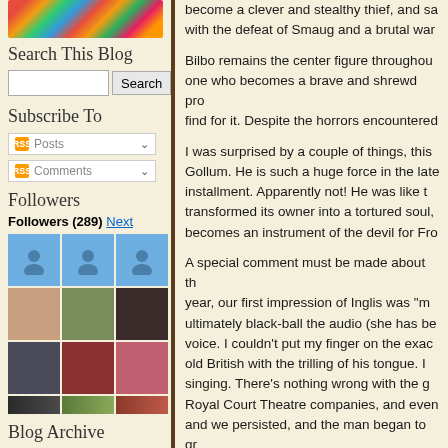[Figure (illustration): Decorative colorful floral/folk art blog header image]
Search This Blog
Search input and button
Subscribe To
Posts feed
Comments feed
Followers
Followers (289) Next
[Figure (photo): Grid of follower avatar photos - 3 blue placeholder avatars and 9 profile photos]
Blog Archive
► 2015 (8)
► 2014 (53)
► 2013 (195)
become a clever and stealthy thief, and sa with the defeat of Smaug and a brutal war
Bilbo remains the center figure throughou one who becomes a brave and shrewd pro find for it. Despite the horrors encountered
I was surprised by a couple of things, this Gollum. He is such a huge force in the late installment. Apparently not! He was like t transformed its owner into a tortured soul, becomes an instrument of the devil for Fro
A special comment must be made about th year, our first impression of Inglis was "m ultimately black-ball the audio (she has be voice. I couldn't put my finger on the exac old British with the trilling of his tongue. l singing. There's nothing wrong with the g Royal Court Theatre companies, and even and we persisted, and the man began to gr vigilance for the sake of the story (and yes
Now we journey into known territory with
Have you read the series? Have you listen
4 out of 5 stars